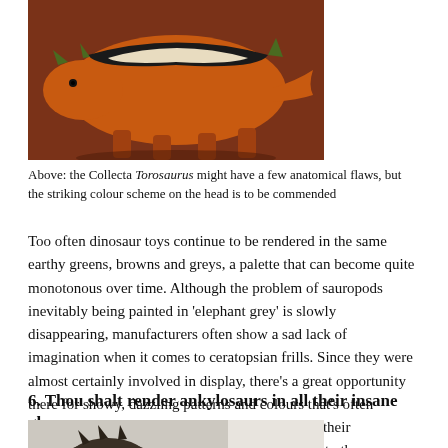[Figure (photo): Photo of a Collecta Torosaurus dinosaur toy with orange, black, and cream coloring on a reddish-brown surface]
Above: the Collecta Torosaurus might have a few anatomical flaws, but the striking colour scheme on the head is to be commended
Too often dinosaur toys continue to be rendered in the same earthy greens, browns and greys, a palette that can become quite monotonous over time. Although the problem of sauropods inevitably being painted in 'elephant grey' is slowly disappearing, manufacturers often show a sad lack of imagination when it comes to ceratopsian frills. Since they were almost certainly involved in display, there's a great opportunity there for showy, dazzling patterns and colours that's often missed. Collecta are starting to cotton on to this (their Torosaurus stands out a mile), and I'm hoping that other companies will follow suit.
6. Thou shalt render ankylosaurs in all their insane glory
[Figure (photo): Partial photo of a dark-colored ankylosaur dinosaur toy on a light grey/white surface]